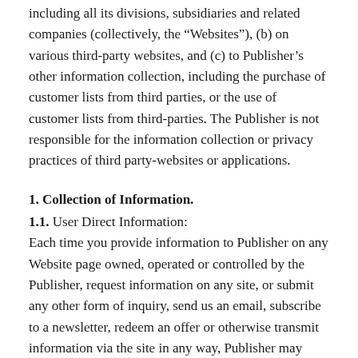including all its divisions, subsidiaries and related companies (collectively, the “Websites”), (b) on various third-party websites, and (c) to Publisher’s other information collection, including the purchase of customer lists from third parties, or the use of customer lists from third-parties. The Publisher is not responsible for the information collection or privacy practices of third party-websites or applications.
1. Collection of Information.
1.1. User Direct Information: Each time you provide information to Publisher on any Website page owned, operated or controlled by the Publisher, request information on any site, or submit any other form of inquiry, send us an email, subscribe to a newsletter, redeem an offer or otherwise transmit information via the site in any way, Publisher may obtain and collect personally identifiable information provided by you, including, but not limited to,